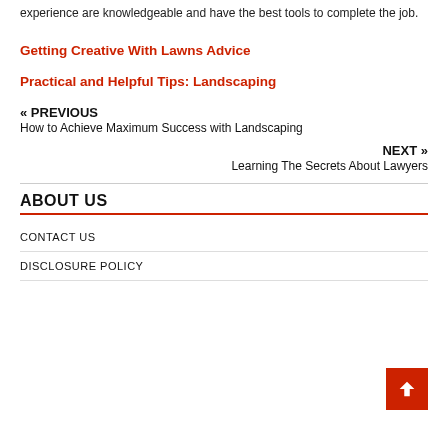experience are knowledgeable and have the best tools to complete the job.
Getting Creative With Lawns Advice
Practical and Helpful Tips: Landscaping
« PREVIOUS
How to Achieve Maximum Success with Landscaping
NEXT »
Learning The Secrets About Lawyers
ABOUT US
CONTACT US
DISCLOSURE POLICY